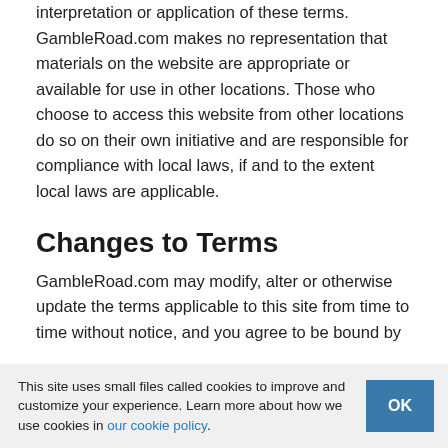interpretation or application of these terms. GambleRoad.com makes no representation that materials on the website are appropriate or available for use in other locations. Those who choose to access this website from other locations do so on their own initiative and are responsible for compliance with local laws, if and to the extent local laws are applicable.
Changes to Terms
GambleRoad.com may modify, alter or otherwise update the terms applicable to this site from time to time without notice, and you agree to be bound by
This site uses small files called cookies to improve and customize your experience. Learn more about how we use cookies in our cookie policy.